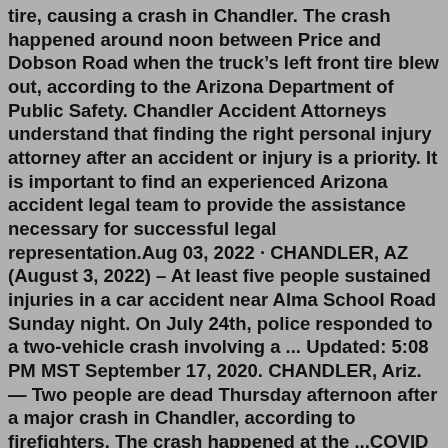tire, causing a crash in Chandler. The crash happened around noon between Price and Dobson Road when the truck's left front tire blew out, according to the Arizona Department of Public Safety. Chandler Accident Attorneys understand that finding the right personal injury attorney after an accident or injury is a priority. It is important to find an experienced Arizona accident legal team to provide the assistance necessary for successful legal representation.Aug 03, 2022 · CHANDLER, AZ (August 3, 2022) – At least five people sustained injuries in a car accident near Alma School Road Sunday night. On July 24th, police responded to a two-vehicle crash involving a ... Updated: 5:08 PM MST September 17, 2020. CHANDLER, Ariz. — Two people are dead Thursday afternoon after a major crash in Chandler, according to firefighters. The crash happened at the ...COVID update: Phoenix Accident and Injury Law Firm has updated their hours and services. 7 reviews of Phoenix Accident and Injury Law Firm "I have been a client of Thompson Law firm since 2007; after my